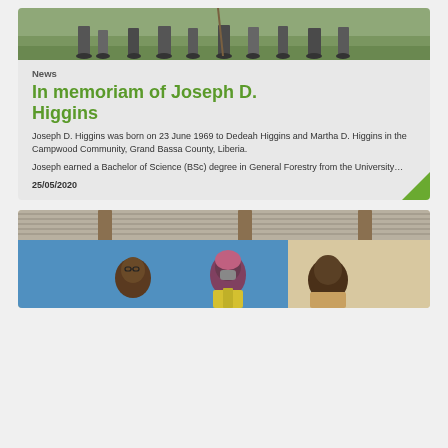[Figure (photo): Group of people standing outdoors on grass, partial view showing legs and feet]
News
In memoriam of Joseph D. Higgins
Joseph D. Higgins was born on 23 June 1969 to Dedeah Higgins and Martha D. Higgins in the Campwood Community, Grand Bassa County, Liberia.
Joseph earned a Bachelor of Science (BSc) degree in General Forestry from the University…
25/05/2020
[Figure (photo): People sitting under a corrugated metal roof shelter, one person wearing a yellow vest and another wearing a pink head covering with a face mask]